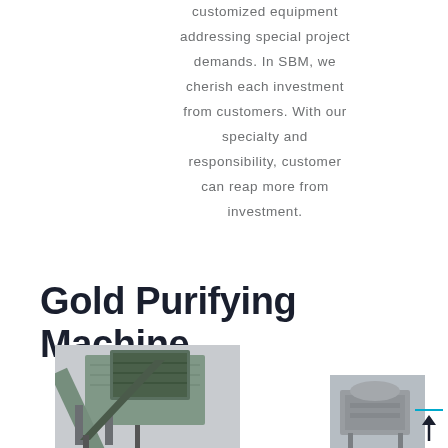customized equipment addressing special project demands. In SBM, we cherish each investment from customers. With our specialty and responsibility, customer can reap more from investment.
Gold Purifying Machine
[Figure (photo): Two industrial gold purifying machines photographed outdoors; left machine is a large green conveyor/processing unit, right machine is a smaller equipment unit.]